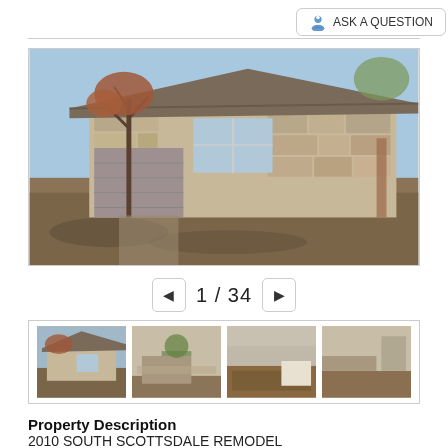[Figure (screenshot): Ask a Question button with person icon]
[Figure (photo): Exterior photo of a single-story ranch-style home with stone facade, large window, bare trees, and gravel front yard in South Scottsdale]
1 / 34
[Figure (photo): Thumbnail 1: exterior of home]
[Figure (photo): Thumbnail 2: interior living room]
[Figure (photo): Thumbnail 3: interior kitchen]
[Figure (photo): Thumbnail 4: interior room]
Property Description
2010 SOUTH SCOTTSDALE REMODEL